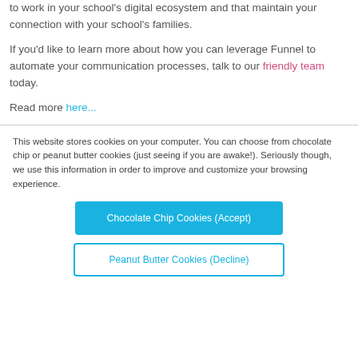to work in your school's digital ecosystem and that maintain your connection with your school's families.
If you'd like to learn more about how you can leverage Funnel to automate your communication processes, talk to our friendly team today.
Read more here...
This website stores cookies on your computer. You can choose from chocolate chip or peanut butter cookies (just seeing if you are awake!). Seriously though, we use this information in order to improve and customize your browsing experience.
Chocolate Chip Cookies (Accept)
Peanut Butter Cookies (Decline)